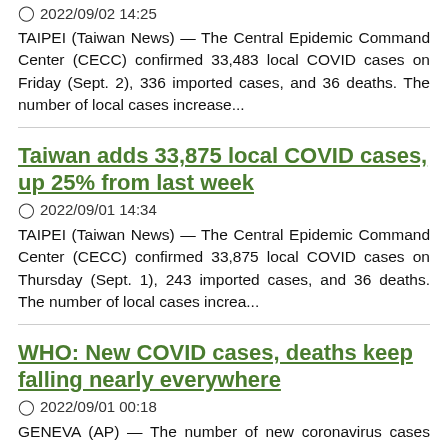2022/09/02 14:25
TAIPEI (Taiwan News) — The Central Epidemic Command Center (CECC) confirmed 33,483 local COVID cases on Friday (Sept. 2), 336 imported cases, and 36 deaths. The number of local cases increase...
Taiwan adds 33,875 local COVID cases, up 25% from last week
2022/09/01 14:34
TAIPEI (Taiwan News) — The Central Epidemic Command Center (CECC) confirmed 33,875 local COVID cases on Thursday (Sept. 1), 243 imported cases, and 36 deaths. The number of local cases increa...
WHO: New COVID cases, deaths keep falling nearly everywhere
2022/09/01 00:18
GENEVA (AP) — The number of new coronavirus cases and deaths reported globally continued to fall nearly everywhere in the world, a report the World Health Organization described...